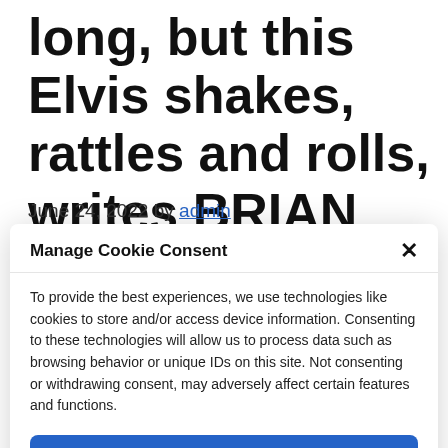long, but this Elvis shakes, rattles and rolls, writes BRIAN VINER
June 24, 2022 by admin
Manage Cookie Consent
To provide the best experiences, we use technologies like cookies to store and/or access device information. Consenting to these technologies will allow us to process data such as browsing behavior or unique IDs on this site. Not consenting or withdrawing consent, may adversely affect certain features and functions.
Accept